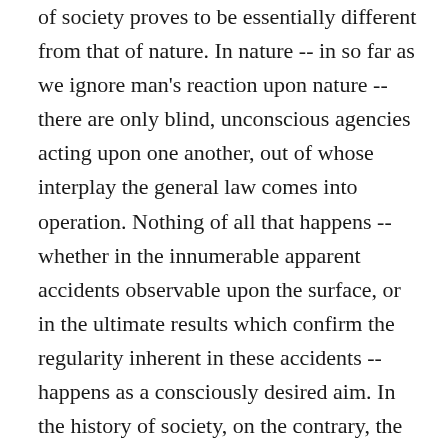of society proves to be essentially different from that of nature. In nature -- in so far as we ignore man's reaction upon nature -- there are only blind, unconscious agencies acting upon one another, out of whose interplay the general law comes into operation. Nothing of all that happens -- whether in the innumerable apparent accidents observable upon the surface, or in the ultimate results which confirm the regularity inherent in these accidents -- happens as a consciously desired aim. In the history of society, on the contrary, the actors are all endowed with consciousness, are men acting with deliberation or passion, working towards definite goals; nothing happens without a conscious purposes, without an intended aim. But this distinction, important as it is for historical investigation, particularly of single epochs and events, cannot alter the fact that the course of